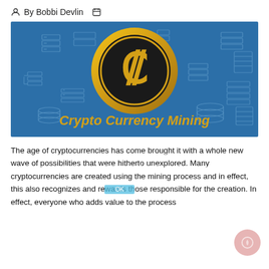By Bobbi Devlin
[Figure (illustration): Crypto Currency Mining banner image with a gold coin showing a cent symbol on a blue background with server/database icons, and the text 'Crypto Currency Mining' in gold italic font at the bottom.]
The age of cryptocurrencies has come brought it with a whole new wave of possibilities that were hitherto unexplored. Many cryptocurrencies are created using the mining process and in effect, this also recognizes and rewards those responsible for the creation. In effect, everyone who adds value to the process